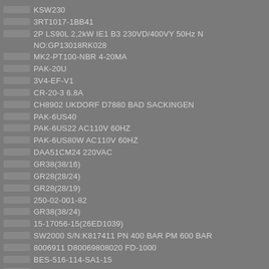KSW230
3RT1017-1BB41
2P LS90L 2,2kW IE1 B3 230VD/400VY 50Hz N NO:GP13018RK028
MK2-PT100-NBR 4-20MA
PAK-20U
3V4-EF-V1
CR-20-3 6.8A
CH8902 UKDORF D7880 BAD SACKINGEN
PAK-6US40
PAK-6US22 AC110V 60HZ
PAK-6US80W AC110V 60HZ
DAA51CM24 220VAC
GR38(38/16)
GR28(28/24)
GR28(28/19)
250-02-001-82
GR38(38/24)
15-17056-15(26ED1039)
SW2000 S/N:K817411 PN 400 BAR PM 600 BAR
8006911 D80069808020 FD-1000
BES-516-114-SA1-15
RA9054/710